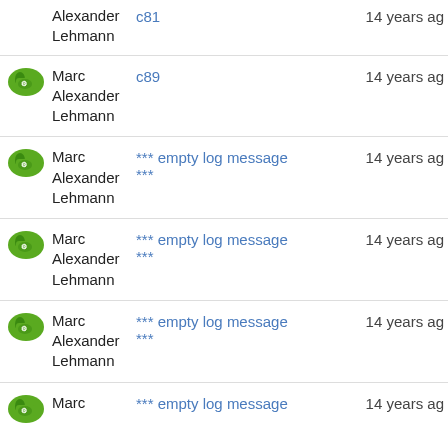Alexander Lehmann | c81 | 14 years ago
Marc Alexander Lehmann | c89 | 14 years ago
Marc Alexander Lehmann | *** empty log message *** | 14 years ago
Marc Alexander Lehmann | *** empty log message *** | 14 years ago
Marc Alexander Lehmann | *** empty log message *** | 14 years ago
Marc | *** empty log message